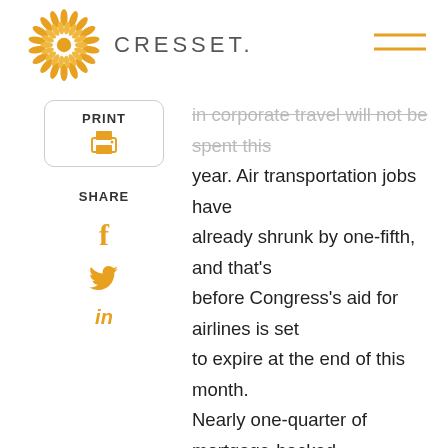CRESSET.
PRINT
SHARE
in corporate travel will not be spent this year. Air transportation jobs have already shrunk by one-fifth, and that's before Congress's aid for airlines is set to expire at the end of this month. Nearly one-quarter of mortgage-backed loans extended to hotels were delinquent at least 30 days in July. Meanwhile, JP Morgan, Ford Motor, Twitter and REI have each announced their vision of a permanent work-from-home environment. REI will be